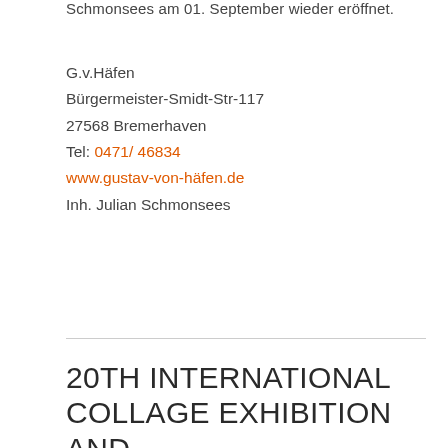Schmonsees am 01. September wieder eröffnet.
G.v.Häfen
Bürgermeister-Smidt-Str-117
27568 Bremerhaven
Tel: 0471/ 46834
www.gustav-von-häfen.de
Inh. Julian Schmonsees
20TH INTERNATIONAL COLLAGE EXHIBITION AND EXCHANGE IN NEUSEELAND